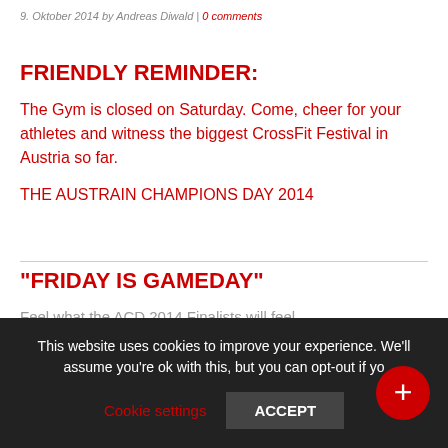9. Oktober 2014 by Andreas Diwald | 0 comments
FRIENDLY REMINDER:
The Gym is closed on Saturday. Come, cheer for your athletes and witness the biggest CrossFit Festival in Austria so far.
THE AUSTRAIN CHAMPIONS DAY 2014
“FRIDAY IS GAMEDAY”
Feel what the ACD 2014 Finalists will feel…
This website uses cookies to improve your experience. We'll assume you're ok with this, but you can opt-out if yo
Cookie settings
ACCEPT